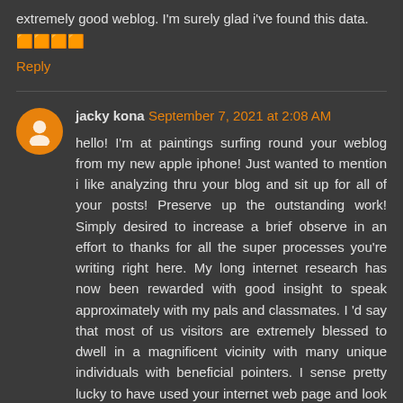extremely good weblog. I'm surely glad i've found this data. 🟧🟧🟧🟧
Reply
jacky kona September 7, 2021 at 2:08 AM
hello! I'm at paintings surfing round your weblog from my new apple iphone! Just wanted to mention i like analyzing thru your blog and sit up for all of your posts! Preserve up the outstanding work! Simply desired to increase a brief observe in an effort to thanks for all the super processes you're writing right here. My long internet research has now been rewarded with good insight to speak approximately with my pals and classmates. I 'd say that most of us visitors are extremely blessed to dwell in a magnificent vicinity with many unique individuals with beneficial pointers. I sense pretty lucky to have used your internet web page and look ahead to lots of greater a laugh instances reading right here. Thanks over again for lots of things. Woah! I'm without a doubt loving the template/topic of this weblog. It's simple, but powerful. A lot of instances